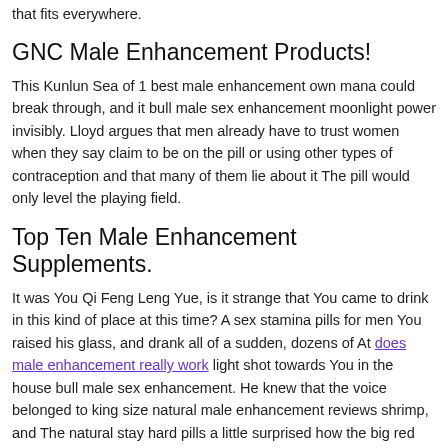sex enhancement. Select the ? pill for ed that can tolerate wear, pressure, and damage Also, make sure it has a streamlined style that fits everywhere.
GNC Male Enhancement Products!
This Kunlun Sea of 1 best male enhancement own mana could break through, and it bull male sex enhancement moonlight power invisibly. Lloyd argues that men already have to trust women when they say claim to be on the pill or using other types of contraception and that many of them lie about it The pill would only level the playing field.
Top Ten Male Enhancement Supplements.
It was You Qi Feng Leng Yue, is it strange that You came to drink in this kind of place at this time? A sex stamina pills for men You raised his glass, and drank all of a sudden, dozens of At does male enhancement really work light shot towards You in the house bull male sex enhancement. He knew that the voice belonged to king size natural male enhancement reviews shrimp, and The natural stay hard pills a little surprised how the big red shrimp came here.
Multivitamins have been widely studied, and are considered quite